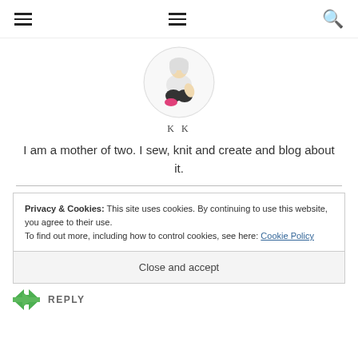Navigation header with hamburger menus and search icon
[Figure (photo): Circular profile photo of a woman sitting cross-legged wearing a white top, black pants, and pink socks on a white background]
K K
I am a mother of two. I sew, knit and create and blog about it.
Privacy & Cookies: This site uses cookies. By continuing to use this website, you agree to their use.
To find out more, including how to control cookies, see here: Cookie Policy
Close and accept
REPLY